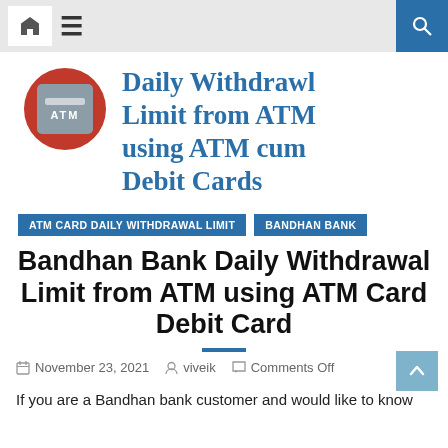Navigation bar with home, menu, and search icons
Daily Withdrawl Limit from ATM using ATM cum Debit Cards
ATM CARD DAILY WITHDRAWAL LIMIT   BANDHAN BANK
Bandhan Bank Daily Withdrawal Limit from ATM using ATM Card Debit Card
November 23, 2021   viveik   Comments Off
If you are a Bandhan bank customer and would like to know